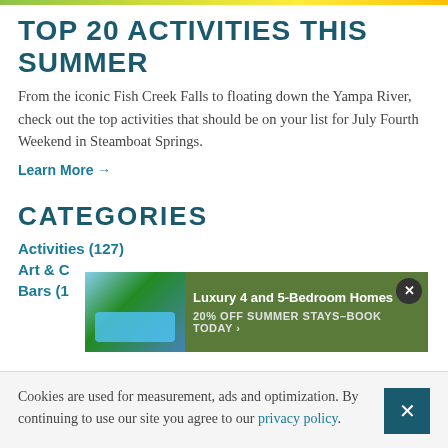TOP 20 ACTIVITIES THIS SUMMER
From the iconic Fish Creek Falls to floating down the Yampa River, check out the top activities that should be on your list for July Fourth Weekend in Steamboat Springs.
Learn More →
CATEGORIES
Activities (127)
Art & C...
Bars (1...
[Figure (screenshot): Ad banner: Luxury 4 and 5-Bedroom Homes, 20% OFF SUMMER STAYS–BOOK TODAY]
Cookies are used for measurement, ads and optimization. By continuing to use our site you agree to our privacy policy.